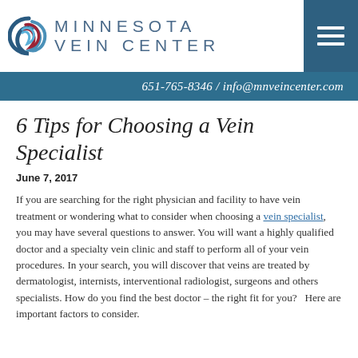[Figure (logo): Minnesota Vein Center logo with swirl icon and text 'MINNESOTA VEIN CENTER' and a hamburger menu button in teal]
651-765-8346 / info@mnveincenter.com
6 Tips for Choosing a Vein Specialist
June 7, 2017
If you are searching for the right physician and facility to have vein treatment or wondering what to consider when choosing a vein specialist, you may have several questions to answer.  You will want a highly qualified doctor and a specialty vein clinic and staff to perform all of your vein procedures. In your search, you will discover that veins are treated by dermatologist, internists, interventional radiologist, surgeons and others specialists. How do you find the best doctor – the right fit for you?   Here are important factors to consider.